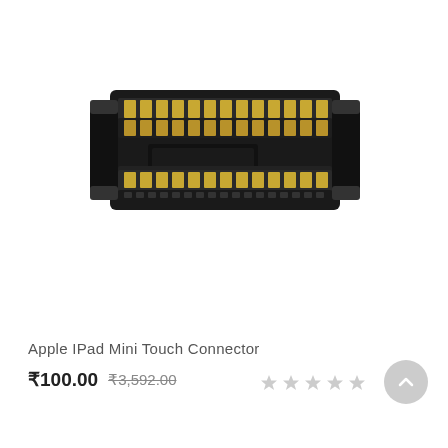[Figure (photo): A black FPC/FFC touch connector component for Apple iPad Mini, showing gold-plated pins arranged in two rows on a rectangular black plastic housing, viewed from above at a slight angle.]
Apple IPad Mini Touch Connector
₹100.00  ₹3,592.00